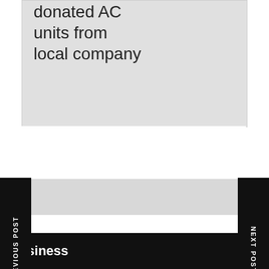donated AC units from local company
[Figure (other): Grey placeholder image area for article]
PREVIOUS POST
NEXT POST
DALLAS DAILY TIMES
Delivering The Latest News To You
Home  Business  Real Estate  Lifestyle
Business